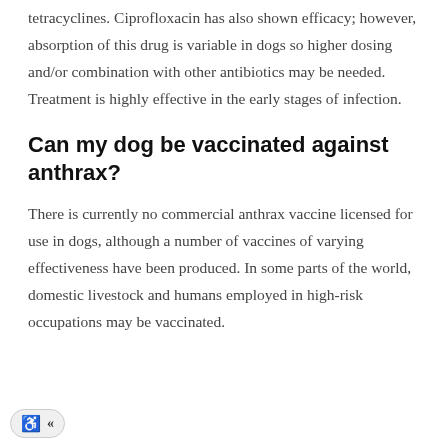of choice are penicillin, chlorambucil, and tetracyclines. Ciprofloxacin has also shown efficacy; however, absorption of this drug is variable in dogs so higher dosing and/or combination with other antibiotics may be needed. Treatment is highly effective in the early stages of infection.
Can my dog be vaccinated against anthrax?
There is currently no commercial anthrax vaccine licensed for use in dogs, although a number of vaccines of varying effectiveness have been produced. In some parts of the world, domestic livestock and humans employed in high-risk occupations may be vaccinated.